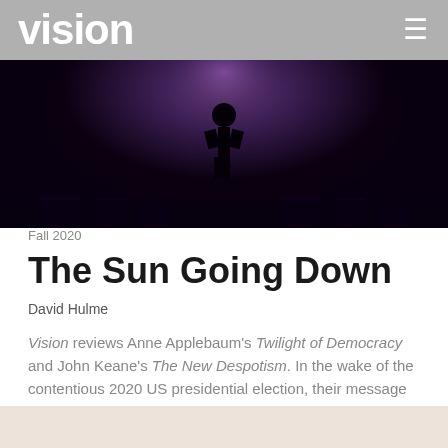vision
[Figure (photo): Dark dramatic photo of a silhouetted figure on a stage with purple/violet lighting and audience silhouettes in the foreground]
Fall 2020
The Sun Going Down
David Hulme
Vision reviews Anne Applebaum's Twilight of Democracy and John Keane's The New Despotism. In the wake of the contentious 2020 US presidential election, their message is sobering.
[Figure (photo): Partial bottom image, light/cream colored, partially visible]